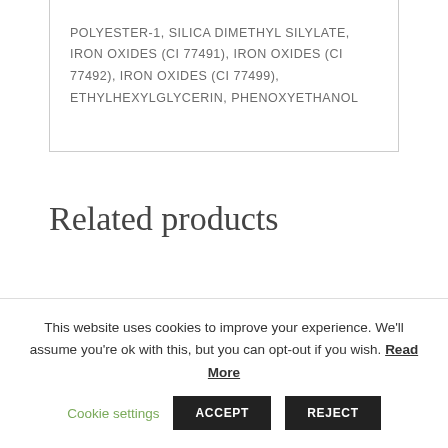POLYESTER-1, SILICA DIMETHYL SILYLATE, IRON OXIDES (CI 77491), IRON OXIDES (CI 77492), IRON OXIDES (CI 77499), ETHYLHEXYLGLYCERIN, PHENOXYETHANOL
Related products
This website uses cookies to improve your experience. We'll assume you're ok with this, but you can opt-out if you wish. Read More  Cookie settings  ACCEPT  REJECT